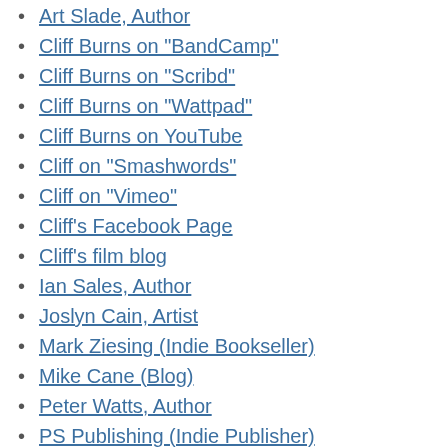Art Slade, Author
Cliff Burns on "BandCamp"
Cliff Burns on "Scribd"
Cliff Burns on "Wattpad"
Cliff Burns on YouTube
Cliff on "Smashwords"
Cliff on "Vimeo"
Cliff's Facebook Page
Cliff's film blog
Ian Sales, Author
Joslyn Cain, Artist
Mark Ziesing (Indie Bookseller)
Mike Cane (Blog)
Peter Watts, Author
PS Publishing (Indie Publisher)
Robert Runte, Academic